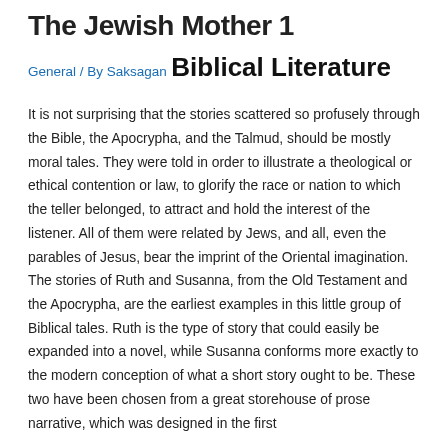The Jewish Mother 1
General / By Saksagan
Biblical Literature
It is not surprising that the stories scattered so profusely through the Bible, the Apocrypha, and the Talmud, should be mostly moral tales. They were told in order to illustrate a theological or ethical contention or law, to glorify the race or nation to which the teller belonged, to attract and hold the interest of the listener. All of them were related by Jews, and all, even the parables of Jesus, bear the imprint of the Oriental imagination. The stories of Ruth and Susanna, from the Old Testament and the Apocrypha, are the earliest examples in this little group of Biblical tales. Ruth is the type of story that could easily be expanded into a novel, while Susanna conforms more exactly to the modern conception of what a short story ought to be. These two have been chosen from a great storehouse of prose narrative, which was designed in the first